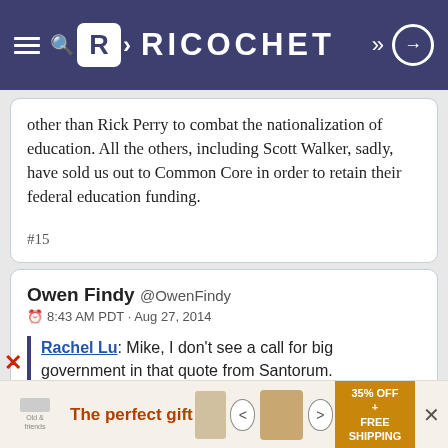RICOCHET
other than Rick Perry to combat the nationalization of education. All the others, including Scott Walker, sadly, have sold us out to Common Core in order to retain their federal education funding.
#15
Owen Findy @OwenFindy
8:43 AM PDT · Aug 27, 2014
Rachel Lu: Mike, I don't see a call for big government in that quote from Santorum.
Isn't it implicit in Santorum's rejection of what he
[Figure (infographic): Advertisement banner: The perfect gift, 35% OFF + FREE SHIPPING, with product images and navigation arrows]